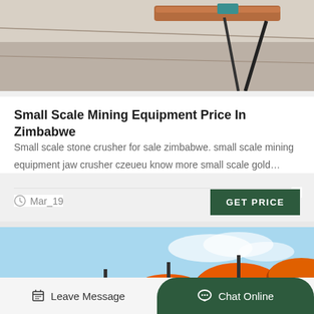[Figure (photo): Top photo of mining/construction equipment with pipes and wires on concrete surface]
Small Scale Mining Equipment Price In Zimbabwe
Small scale stone crusher for sale zimbabwe. small scale mining equipment jaw crusher czeueu know more small scale gold…
Mar_19
GET PRICE
[Figure (photo): Orange industrial mining crusher/flotation machine with multiple orange discs on a black conveyor belt against a blue sky background]
Leave Message
Chat Online